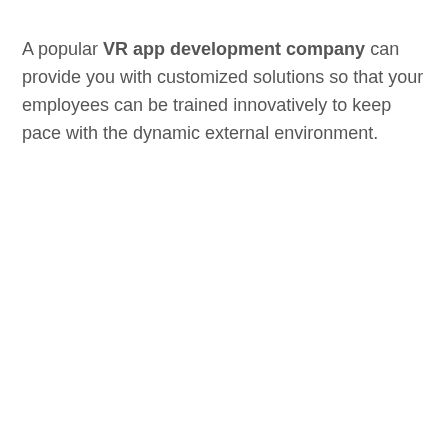A popular VR app development company can provide you with customized solutions so that your employees can be trained innovatively to keep pace with the dynamic external environment.